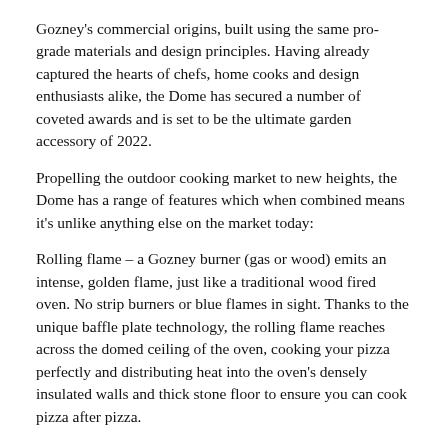Gozney's commercial origins, built using the same pro-grade materials and design principles. Having already captured the hearts of chefs, home cooks and design enthusiasts alike, the Dome has secured a number of coveted awards and is set to be the ultimate garden accessory of 2022.
Propelling the outdoor cooking market to new heights, the Dome has a range of features which when combined means it's unlike anything else on the market today:
Rolling flame – a Gozney burner (gas or wood) emits an intense, golden flame, just like a traditional wood fired oven. No strip burners or blue flames in sight. Thanks to the unique baffle plate technology, the rolling flame reaches across the domed ceiling of the oven, cooking your pizza perfectly and distributing heat into the oven's densely insulated walls and thick stone floor to ensure you can cook pizza after pizza.
Unbeatable heat retention – with more insulation proportionate to its size than any other outdoor oven, the Dome is complete with a 30mm stone floor which acts as a 'heat sink', storing and re-radiating heat, to keep the Dome's